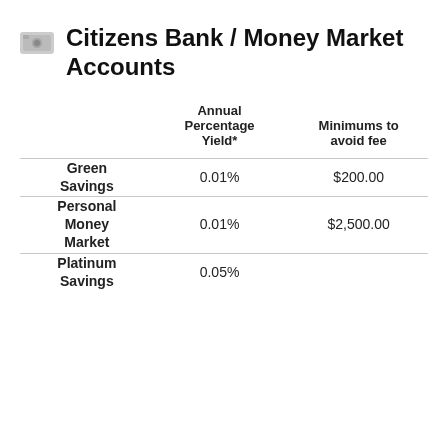Citizens Bank / Money Market Accounts
|  | Annual Percentage Yield* | Minimums to avoid fee |
| --- | --- | --- |
| Green Savings | 0.01% | $200.00 |
| Personal Money Market | 0.01% | $2,500.00 |
| Platinum Savings | 0.05% |  |